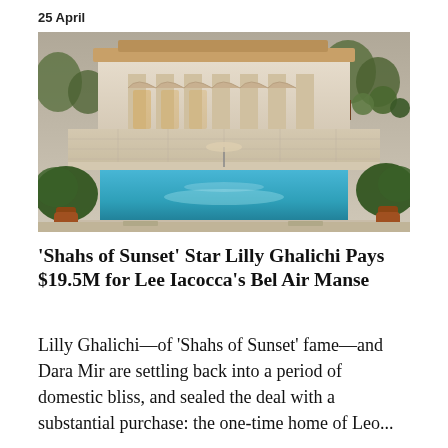25 April
[Figure (photo): Exterior photo of a large Mediterranean-style estate with a long rectangular swimming pool, terracotta-tiled roof, arched colonnade, and manicured topiary trees in the background.]
'Shahs of Sunset' Star Lilly Ghalichi Pays $19.5M for Lee Iacocca's Bel Air Manse
Lilly Ghalichi—of 'Shahs of Sunset' fame—and Dara Mir are settling back into a period of domestic bliss, and sealed the deal with a substantial purchase: the one-time home of Leo...